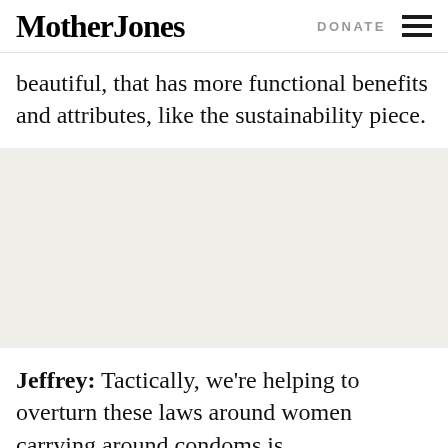Mother Jones | DONATE
beautiful, that has more functional benefits and attributes, like the sustainability piece.
[Figure (other): Advertisement placeholder block with light gray/beige background]
Jeffrey: Tactically, we're helping to overturn these laws around women carrying around condoms is